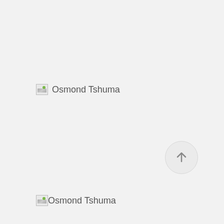[Figure (other): Broken image placeholder icon followed by alt text 'Osmond Tshuma']
[Figure (other): Circular scroll-up button with upward arrow icon]
[Figure (other): Broken image placeholder icon followed by text 'Osmond Tshuma']